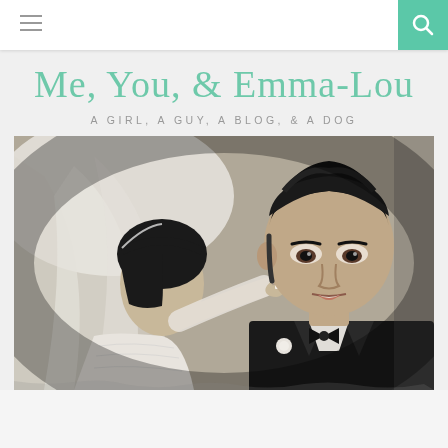≡ [menu] | [search]
Me, You, & Emma-Lou
A GIRL, A GUY, A BLOG, & A DOG
[Figure (photo): Black and white wedding photo of a bride in veil and groom in tuxedo with bow tie; bride is feeding groom a piece of wedding cake.]